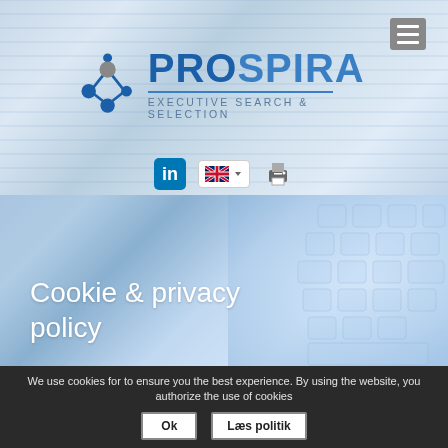[Figure (logo): Prospira Executive Search & Selection logo with molecule/network icon on left and company name on right, with blue styling]
[Figure (screenshot): Navigation icons: LinkedIn button (blue), UK flag language selector with dropdown arrow, and printer icon]
Cookie & privacy policy
We use cookies for to ensure you the best experience. By using the website, you authorize the use of cookies
Ok
Læs politik